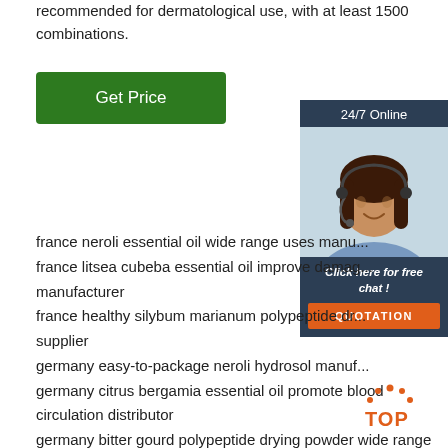recommended for dermatological use, with at least 1500 combinations.
[Figure (other): Green 'Get Price' button]
[Figure (other): 24/7 Online chat widget with photo of customer service representative, 'Click here for free chat!' text, and orange QUOTATION button]
france neroli essential oil wide range uses manu...
france litsea cubeba essential oil improve damag... manufacturer
france healthy silybum marianum polypeptide dr... supplier
germany easy-to-package neroli hydrosol manuf...
germany citrus bergamia essential oil promote blood circulation distributor
germany bitter gourd polypeptide drying powder wide range uses factory direct sales
france fast delivery sheep liver chelated seleno peptide business
[Figure (logo): Orange and white TOP logo with dot pattern]